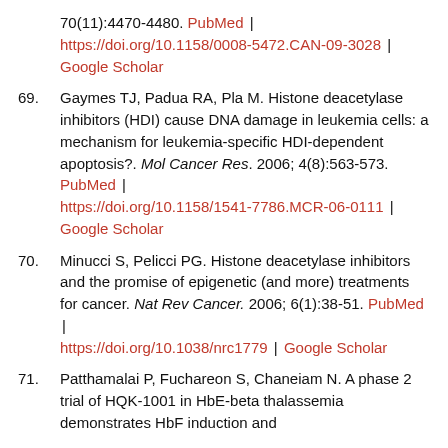70(11):4470-4480. PubMed | https://doi.org/10.1158/0008-5472.CAN-09-3028 | Google Scholar
69. Gaymes TJ, Padua RA, Pla M. Histone deacetylase inhibitors (HDI) cause DNA damage in leukemia cells: a mechanism for leukemia-specific HDI-dependent apoptosis?. Mol Cancer Res. 2006; 4(8):563-573. PubMed | https://doi.org/10.1158/1541-7786.MCR-06-0111 | Google Scholar
70. Minucci S, Pelicci PG. Histone deacetylase inhibitors and the promise of epigenetic (and more) treatments for cancer. Nat Rev Cancer. 2006; 6(1):38-51. PubMed | https://doi.org/10.1038/nrc1779 | Google Scholar
71. Patthamalai P, Fuchareon S, Chaneiam N. A phase 2 trial of HQK-1001 in HbE-beta thalassemia demonstrates HbF induction and